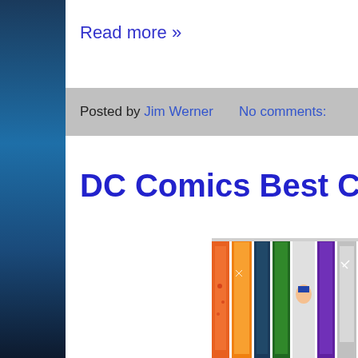Read more »
Posted by Jim Werner    No comments:
DC Comics Best Cov
[Figure (photo): Partial view of stacked DC Comics comic book covers showing colorful spines with various superhero artwork in orange, green, blue, purple, and other colors.]